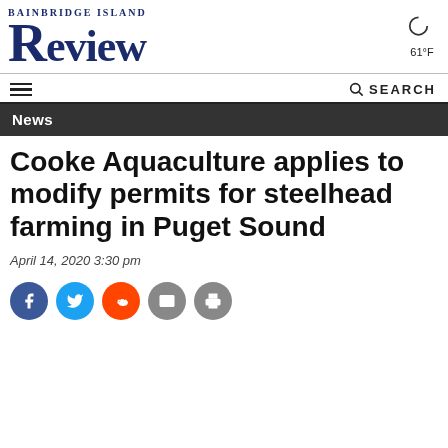Bainbridge Island Review — 61°F
NEWS
Cooke Aquaculture applies to modify permits for steelhead farming in Puget Sound
April 14, 2020 3:30 pm
[Figure (other): Social sharing icons: Facebook (blue), Twitter (light blue), Reddit (orange), Email (grey), Print (grey)]